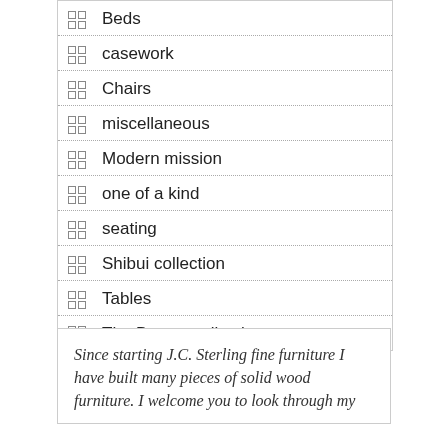Beds
casework
Chairs
miscellaneous
Modern mission
one of a kind
seating
Shibui collection
Tables
The Draper collection
Since starting J.C. Sterling fine furniture I have built many pieces of solid wood furniture. I welcome you to look through my